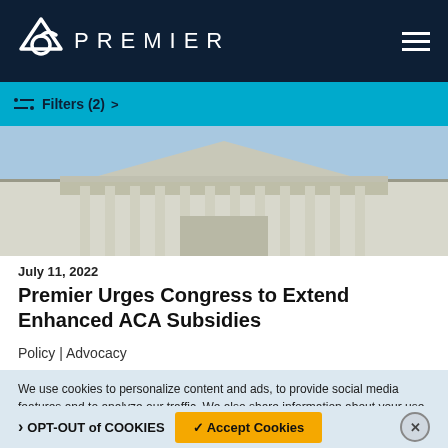PREMIER
Filters (2) >
[Figure (photo): Exterior view of a neoclassical government building (US Capitol or similar) with white columns and ornate pediment against a blue sky.]
July 11, 2022
Premier Urges Congress to Extend Enhanced ACA Subsidies
Policy | Advocacy
We use cookies to personalize content and ads, to provide social media features and to analyze our traffic. We also share information about your use of our site with our social media, advertising and analytics partners. Premier, Inc Privacy Policy
> OPT-OUT of COOKIES
✓ Accept Cookies